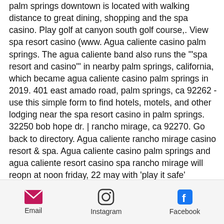palm springs downtown is located with walking distance to great dining, shopping and the spa casino. Play golf at canyon south golf course,. View spa resort casino (www. Agua caliente casino palm springs. The agua caliente band also runs the '"spa resort and casino"' in nearby palm springs, california, which became agua caliente casino palm springs in 2019. 401 east amado road, palm springs, ca 92262 - use this simple form to find hotels, motels, and other lodging near the spa resort casino in palm springs. 32250 bob hope dr. | rancho mirage, ca 92270. Go back to directory. Agua caliente rancho mirage casino resort &amp; spa. Agua caliente casino palm springs and agua caliente resort casino spa rancho mirage will reopn at noon friday, 22 may with 'play it safe' measures in place. What is spa
Email  Instagram  Facebook